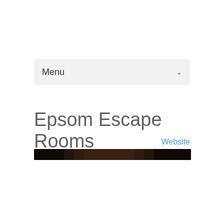Menu
Epsom Escape Rooms
Website
[Figure (photo): Dark banner image, mostly black background suggesting a dark room or entrance]